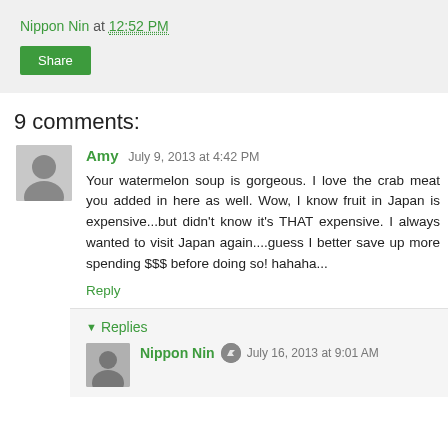Nippon Nin at 12:52 PM
Share
9 comments:
Amy  July 9, 2013 at 4:42 PM
Your watermelon soup is gorgeous. I love the crab meat you added in here as well. Wow, I know fruit in Japan is expensive...but didn't know it's THAT expensive. I always wanted to visit Japan again....guess I better save up more spending $$$ before doing so! hahaha...
Reply
Replies
Nippon Nin  July 16, 2013 at 9:01 AM